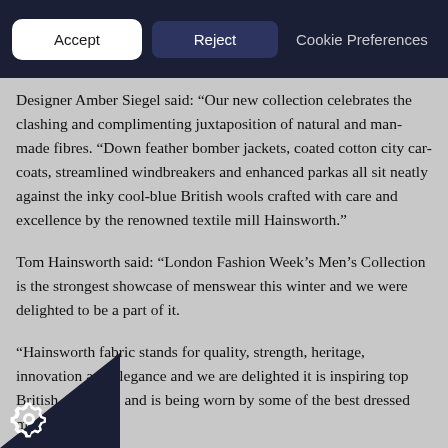Accept | Reject | Cookie Preferences
Designer Amber Siegel said: “Our new collection celebrates the clashing and complimenting juxtaposition of natural and man-made fibres. “Down feather bomber jackets, coated cotton city car-coats, streamlined windbreakers and enhanced parkas all sit neatly against the inky cool-blue British wools crafted with care and excellence by the renowned textile mill Hainsworth.”
Tom Hainsworth said: “London Fashion Week’s Men’s Collection is the strongest showcase of menswear this winter and we were delighted to be a part of it.
“Hainsworth fabric stands for quality, strength, heritage, innovation and elegance and we are delighted it is inspiring top British designers and is being worn by some of the best dressed men in the UK.”
UK menswear market has grown by 12 per cent in